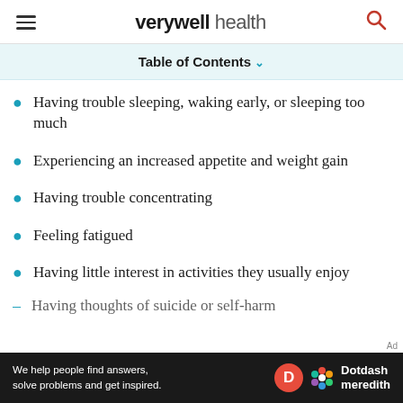verywell health
Table of Contents
Having trouble sleeping, waking early, or sleeping too much
Experiencing an increased appetite and weight gain
Having trouble concentrating
Feeling fatigued
Having little interest in activities they usually enjoy
Having thoughts of suicide or self-harm
[Figure (logo): Dotdash Meredith advertisement banner at bottom of page]